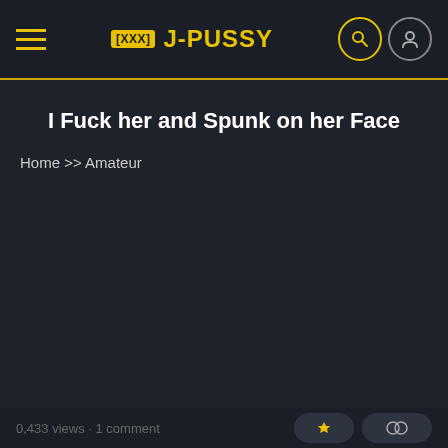[XXX] J-PUSSY
I Fuck her and Spunk on her Face
Home >> Amateur